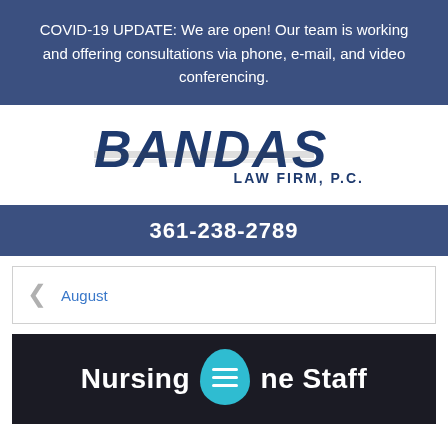COVID-19 UPDATE: We are open! Our team is working and offering consultations via phone, e-mail, and video conferencing.
[Figure (logo): Bandas Law Firm, P.C. logo — large bold 'BANDAS' text in dark blue with stylized tire-track effect, 'LAW FIRM, P.C.' in smaller blue text below]
361-238-2789
August
Nursing Home Staff